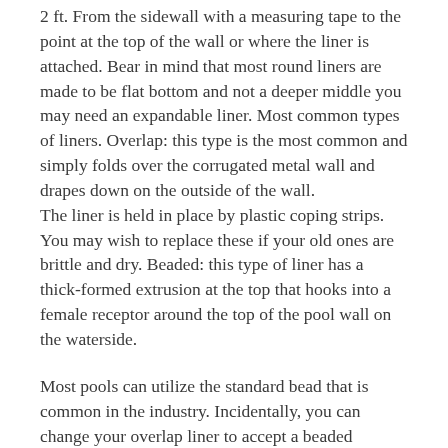2 ft. From the sidewall with a measuring tape to the point at the top of the wall or where the liner is attached. Bear in mind that most round liners are made to be flat bottom and not a deeper middle you may need an expandable liner. Most common types of liners. Overlap: this type is the most common and simply folds over the corrugated metal wall and drapes down on the outside of the wall. The liner is held in place by plastic coping strips. You may wish to replace these if your old ones are brittle and dry. Beaded: this type of liner has a thick-formed extrusion at the top that hooks into a female receptor around the top of the pool wall on the waterside.
Most pools can utilize the standard bead that is common in the industry. Incidentally, you can change your overlap liner to accept a beaded